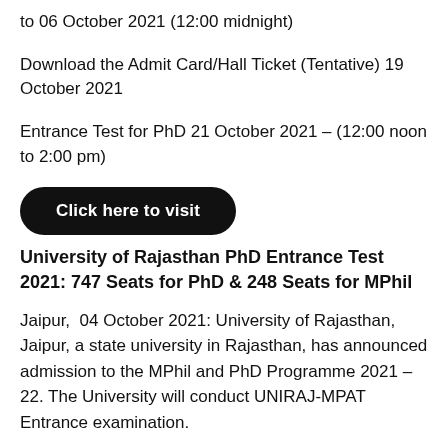to 06 October 2021 (12:00 midnight)
Download the Admit Card/Hall Ticket (Tentative) 19 October 2021
Entrance Test for PhD 21 October 2021 – (12:00 noon to 2:00 pm)
Click here to visit
University of Rajasthan PhD Entrance Test 2021: 747 Seats for PhD & 248 Seats for MPhil
Jaipur,  04 October 2021: University of Rajasthan, Jaipur, a state university in Rajasthan, has announced admission to the MPhil and PhD Programme 2021 – 22. The University will conduct UNIRAJ-MPAT Entrance examination.